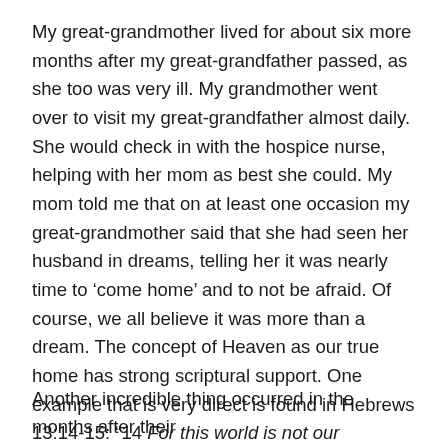My great-grandmother lived for about six more months after my great-grandfather passed, as she too was very ill. My grandmother went over to visit my great-grandfather almost daily. She would check in with the hospice nurse, helping with her mom as best she could. My mom told me that on at least one occasion my great-grandmother said that she had seen her husband in dreams, telling her it was nearly time to ‘come home’ and to not be afraid. Of course, we all believe it was more than a dream. The concept of Heaven as our true home has strong scriptural support. One example that is very direct is found in Hebrews 13:14-15: “14 For this world is not our permanent home; we are looking forward to a home yet to come. 15 Therefore, let us offer through Jesus a continual sacrifice of praise to God, proclaiming our allegiance to his name.”
Another incredible thing occurred in the months after their